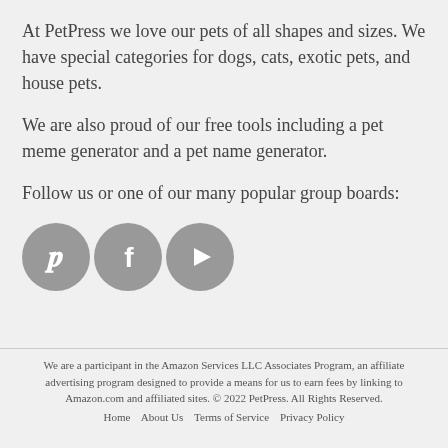At PetPress we love our pets of all shapes and sizes. We have special categories for dogs, cats, exotic pets, and house pets.
We are also proud of our free tools including a pet meme generator and a pet name generator.
Follow us or one of our many popular group boards:
[Figure (illustration): Three circular social media icons in gray: Pinterest (P), Facebook (f), and a play button (YouTube/video)]
We are a participant in the Amazon Services LLC Associates Program, an affiliate advertising program designed to provide a means for us to earn fees by linking to Amazon.com and affiliated sites. © 2022 PetPress. All Rights Reserved.
Home   About Us   Terms of Service   Privacy Policy